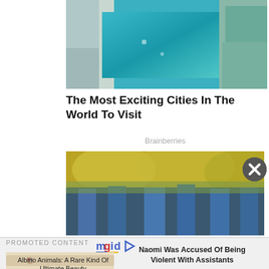[Figure (photo): Aerial view of a city with teal/blue pool or waterway and buildings, seen from above]
The Most Exciting Cities In The World To Visit
Brainberries
[Figure (photo): Colorful artistic image with yellow and blue tones, possibly a painting or mural]
PROMOTED CONTENT
[Figure (logo): mgid logo with play button icon]
[Figure (photo): Close-up photo of an albino white snake]
Albino Animals: A Rare Kind Of Ultimate Beauty
Naomi Was Accused Of Being Violent With Assistants